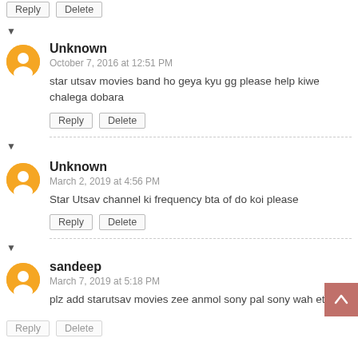Reply   Delete
▼
Unknown
October 7, 2016 at 12:51 PM
star utsav movies band ho geya kyu gg please help kiwe chalega dobara
Reply   Delete
▼
Unknown
March 2, 2019 at 4:56 PM
Star Utsav channel ki frequency bta of do koi please
Reply   Delete
▼
sandeep
March 7, 2019 at 5:18 PM
plz add starutsav movies zee anmol sony pal sony wah etc
Reply   Delete